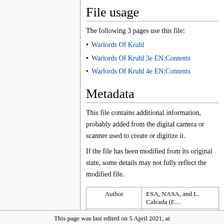File usage
The following 3 pages use this file:
Warlords Of Kruhl
Warlords Of Kruhl 3e EN:Contents
Warlords Of Kruhl 4e EN:Contents
Metadata
This file contains additional information, probably added from the digital camera or scanner used to create or digitize it.
If the file has been modified from its original state, some details may not fully reflect the modified file.
| Author | Copyright holder |
| --- | --- |
| ESA, NASA, and L. Calcada (E… | None |
This page was last edited on 5 April 2021, at